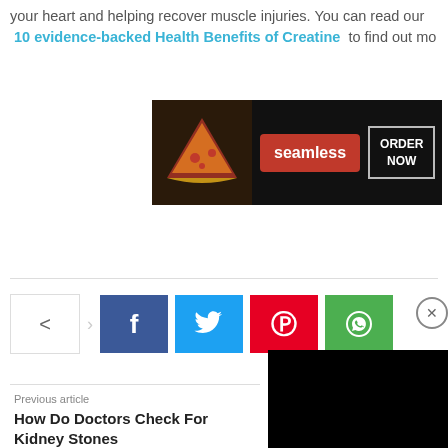your heart and helping recover muscle injuries. You can read our 10 evidence-backed Health Benefits of Creatine to find out mo...
[Figure (screenshot): Seamless food delivery advertisement banner with pizza image, red 'seamless' button, and 'ORDER NOW' box]
[Figure (infographic): Social media share buttons: share icon, Facebook (f), Twitter (bird), Pinterest (p), WhatsApp]
[Figure (screenshot): Black overlay video/ad box with close X button]
Previous article
How Do Doctors Check For Kidney Stones
Kidney Stones
[Figure (screenshot): RELATED ARTICLES bar and CLOSE button]
[Figure (screenshot): Macy's advertisement: KISS BORING LIPS GOODBYE with SHOP NOW button and Macy's logo]